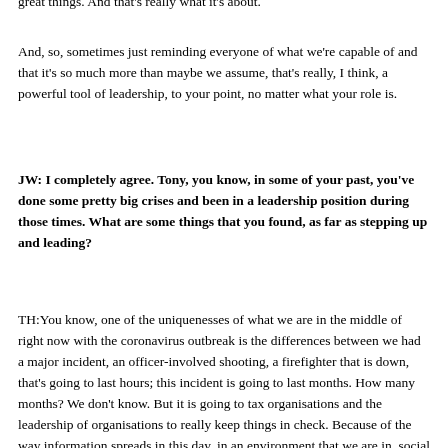great things. And that's really what it's about.
And, so, sometimes just reminding everyone of what we're capable of and that it's so much more than maybe we assume, that's really, I think, a powerful tool of leadership, to your point, no matter what your role is.
JW: I completely agree. Tony, you know, in some of your past, you've done some pretty big crises and been in a leadership position during those times. What are some things that you found, as far as stepping up and leading?
TH:You know, one of the uniquenesses of what we are in the middle of right now with the coronavirus outbreak is the differences between we had a major incident, an officer-involved shooting, a firefighter that is down, that's going to last hours; this incident is going to last months. How many months? We don't know. But it is going to tax organisations and the leadership of organisations to really keep things in check. Because of the way information spreads in this day, in an environment that we are in, social media, and the truth information and the false information that spreads, I think one of the roles of leadership in this specific crisis is going to separate fact from fiction to keep people on, here's what's the facts, as we know them, today. And those are